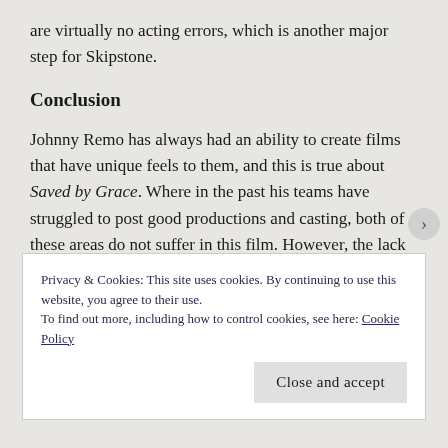are virtually no acting errors, which is another major step for Skipstone.
Conclusion
Johnny Remo has always had an ability to create films that have unique feels to them, and this is true about Saved by Grace. Where in the past his teams have struggled to post good productions and casting, both of these areas do not suffer in this film. However, the lack of substantial plot content really keeps it from being all that it could be. We know that this movie means well and was properly supported with the resources it needed, but in order to take the next
Privacy & Cookies: This site uses cookies. By continuing to use this website, you agree to their use.
To find out more, including how to control cookies, see here: Cookie Policy
Close and accept